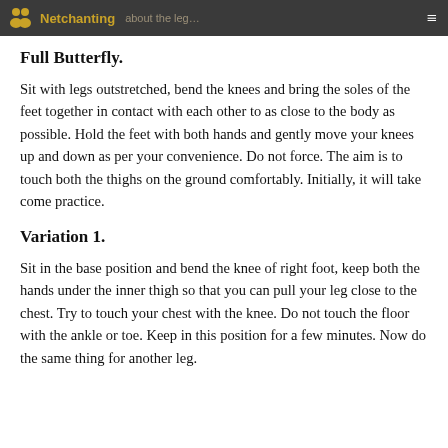Netchanting
Full Butterfly.
Sit with legs outstretched, bend the knees and bring the soles of the feet together in contact with each other to as close to the body as possible. Hold the feet with both hands and gently move your knees up and down as per your convenience. Do not force. The aim is to touch both the thighs on the ground comfortably. Initially, it will take come practice.
Variation 1.
Sit in the base position and bend the knee of right foot, keep both the hands under the inner thigh so that you can pull your leg close to the chest. Try to touch your chest with the knee. Do not touch the floor with the ankle or toe. Keep in this position for a few minutes. Now do the same thing for another leg.